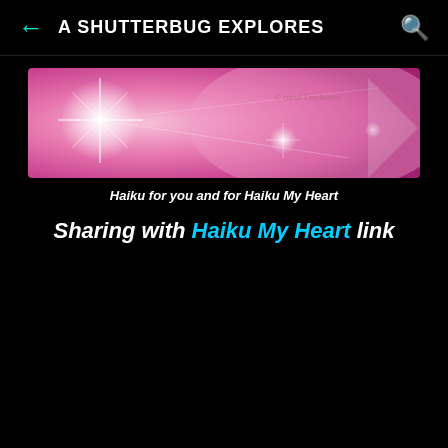A SHUTTERBUG EXPLORES
[Figure (photo): Pink and white glowing banner image with sparkle light effects and lens flare, watermark reads '© carol l mckenna']
Haiku for you and for Haiku My Heart
Sharing with Haiku My Heart link